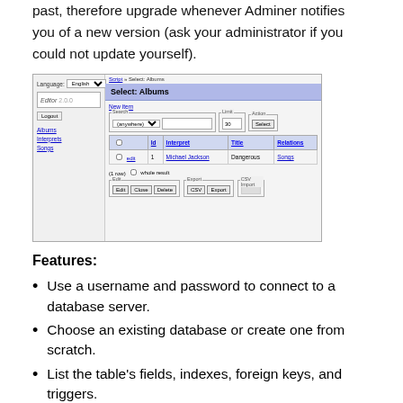past, therefore upgrade whenever Adminer notifies you of a new version (ask your administrator if you could not update yourself).
[Figure (screenshot): Screenshot of Adminer 2.0.0 interface showing Select: Albums page with a navigation sidebar (Albums, Interprets, Songs links), a search/filter area, a results table showing one row (Michael Jackson, Dangerous, Songs), and bottom Edit/Export/CSV Import controls.]
Features:
Use a username and password to connect to a database server.
Choose an existing database or create one from scratch.
List the table's fields, indexes, foreign keys, and triggers.
Change the table's name, engine, collation, auto increment...